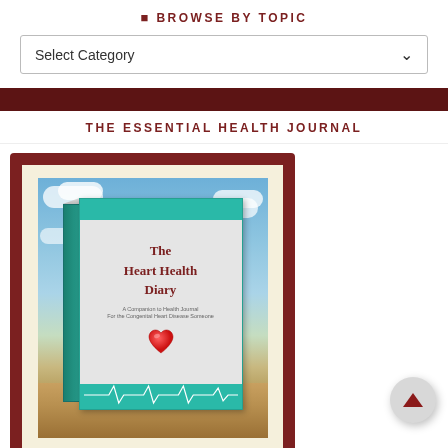BROWSE BY TOPIC
Select Category
THE ESSENTIAL HEALTH JOURNAL
[Figure (photo): Book cover of 'The Heart Health Diary' shown as a 3D book with teal top and bottom bands, white/gray center, red title text, a red heart icon, ECG line at the bottom, set against a blue sky with clouds and a wooden floor background. The book is displayed inside a dark red/maroon frame with a cream inner mat.]